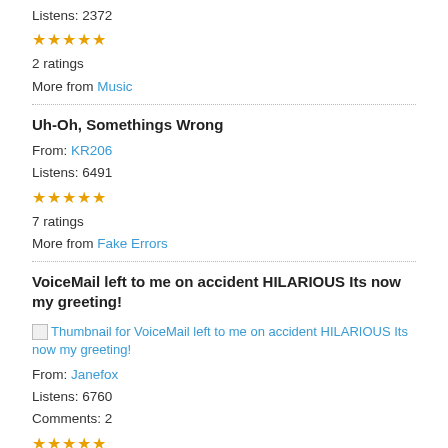Listens: 2372
★★★★★
2 ratings
More from Music
Uh-Oh, Somethings Wrong
From: KR206
Listens: 6491
★★★★★
7 ratings
More from Fake Errors
VoiceMail left to me on accident HILARIOUS Its now my greeting!
[Figure (other): Broken thumbnail image link for VoiceMail left to me on accident HILARIOUS Its now my greeting!]
From: Janefox
Listens: 6760
Comments: 2
★★★★★
9 ratings
More from Funny
Android Voice wrong number